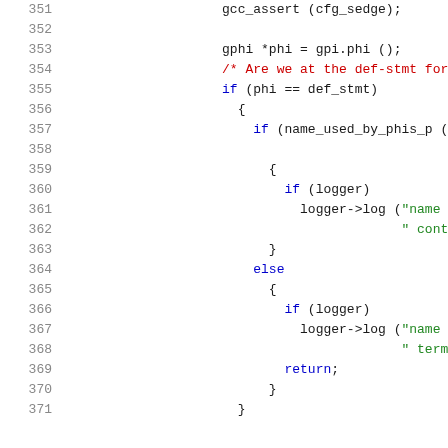[Figure (screenshot): Source code snippet showing C++ code lines 351-371 with syntax highlighting. Line numbers in gray on the left, keywords in blue, strings in green, comments in red.]